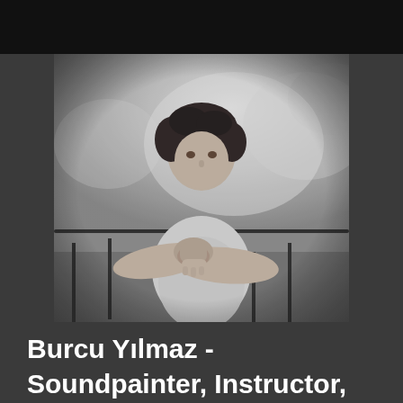[Figure (photo): Black and white photograph of a woman with curly dark hair, standing outdoors near a railing with blurred trees in the background. She is extending her hands toward the camera in a pointing/conducting gesture.]
Burcu Yılmaz - Soundpainter, Instructor,